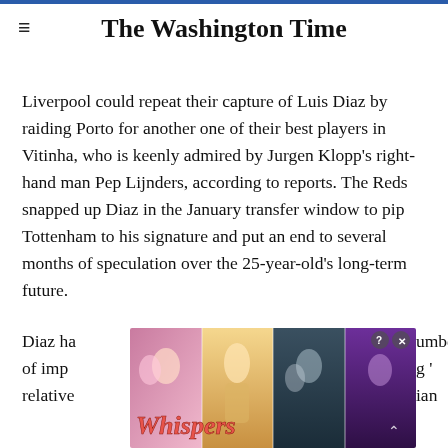The Washington Time
Liverpool could repeat their capture of Luis Diaz by raiding Porto for another one of their best players in Vitinha, who is keenly admired by Jurgen Klopp's right-hand man Pep Lijnders, according to reports. The Reds snapped up Diaz in the January transfer window to pip Tottenham to his signature and put an end to several months of speculation over the 25-year-old's long-term future.
[Figure (other): Advertisement overlay for 'Whispers' mobile game/app showing romantic illustrated characters in multiple panels with colorful backgrounds]
Diaz ha...umber of imp...g '...relative...ian